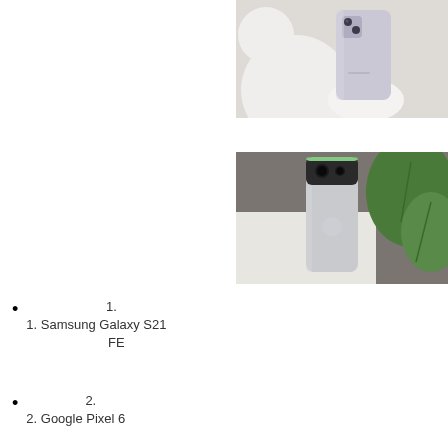[Figure (photo): Samsung Galaxy S21 FE smartphone shown from the back in a light lavender/silver color, displayed on white cylindrical stands against a light beige background]
[Figure (photo): Google Pixel 6 smartphone shown from the back, silver/grey color with a black camera bar, displayed on a white surface next to green tropical leaves]
1.
1. Samsung Galaxy S21 FE
2.
2. Google Pixel 6